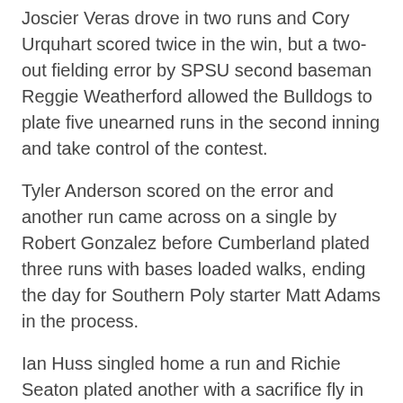Joscier Veras drove in two runs and Cory Urquhart scored twice in the win, but a two-out fielding error by SPSU second baseman Reggie Weatherford allowed the Bulldogs to plate five unearned runs in the second inning and take control of the contest.
Tyler Anderson scored on the error and another run came across on a single by Robert Gonzalez before Cumberland plated three runs with bases loaded walks, ending the day for Southern Poly starter Matt Adams in the process.
Ian Huss singled home a run and Richie Seaton plated another with a sacrifice fly in the fourth and Veras drove home the final run for CU with a groundout in the fifth. The Bulldogs led 8-1 before the Hornets scored twice in the sixth.
Matt Adams gave up five unearned runs on just two hits with five walks in 1.2 innings. SPSU walked 12 batters in the contest and allowed only five hits.
Urquhart's two-out single down the rightfield line plated [text cut off]